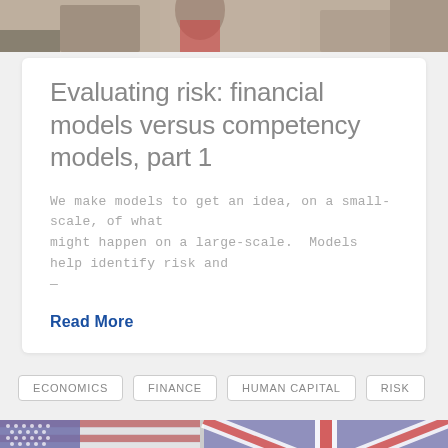[Figure (photo): Top portion of a photo showing people on stairs/street scene]
Evaluating risk: financial models versus competency models, part 1
We make models to get an idea, on a small-scale, of what might happen on a large-scale.  Models help identify risk and —
Read More
ECONOMICS
FINANCE
HUMAN CAPITAL
RISK
[Figure (photo): Collage of national flags — US flag top left, UK Union Jack top right, Canadian flag bottom]